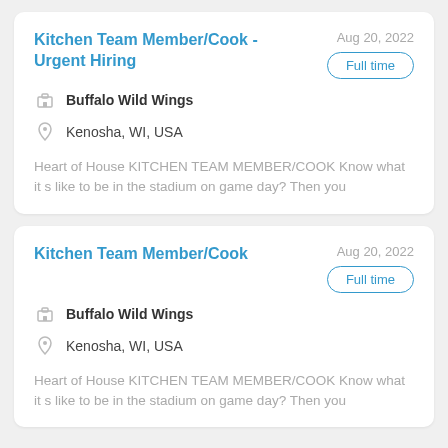Kitchen Team Member/Cook - Urgent Hiring
Aug 20, 2022
Full time
Buffalo Wild Wings
Kenosha, WI, USA
Heart of House KITCHEN TEAM MEMBER/COOK Know what it s like to be in the stadium on game day? Then you
Kitchen Team Member/Cook
Aug 20, 2022
Full time
Buffalo Wild Wings
Kenosha, WI, USA
Heart of House KITCHEN TEAM MEMBER/COOK Know what it s like to be in the stadium on game day? Then you